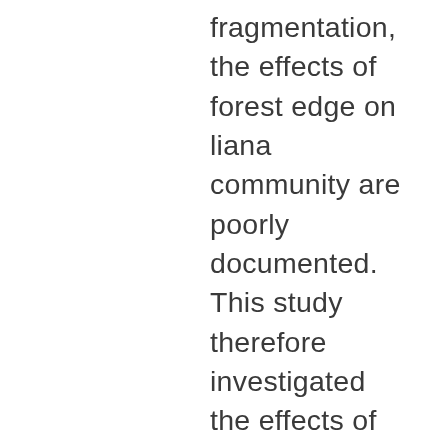fragmentation, the effects of forest edge on liana community are poorly documented. This study therefore investigated the effects of road-edge on liana community structure and liana-host interactions in two evergreen rainforests in Ghana (Ankasa Conservation Area, Cape Three Points Forest Reserve). Lianas and their hosts were identified and counted in twenty-four 50 m × 50 m plots in each rainforest. The plots were evenly distributed in edge (0–50 m), interior (200 m) and deep-interior (400 m) sites. The edge site of Cape Three